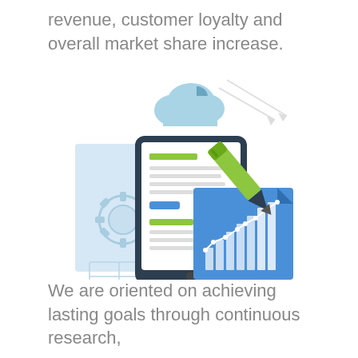revenue, customer loyalty and overall market share increase.
[Figure (illustration): Business infographic illustration showing a tablet device with document content, a gear/settings document behind it, a cloud with pie chart, an upward arrow, a green fountain pen, and a chart document with rising bar and line chart — representing digital business analytics and reporting.]
We are oriented on achieving lasting goals through continuous research,